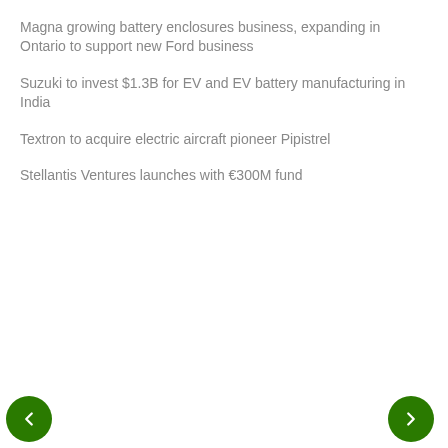Magna growing battery enclosures business, expanding in Ontario to support new Ford business
Suzuki to invest $1.3B for EV and EV battery manufacturing in India
Textron to acquire electric aircraft pioneer Pipistrel
Stellantis Ventures launches with €300M fund
[Figure (screenshot): Twitter widget showing 'Tweets from @mmillikin' with Follow button, a tweet by Mike Milli... (@mmilli...) dated Nov 6, 2020 about Indonesia becoming a regional hub for EV manufacturing with a link to asia.nikkei.com/Business/Autom... and navigation arrows]